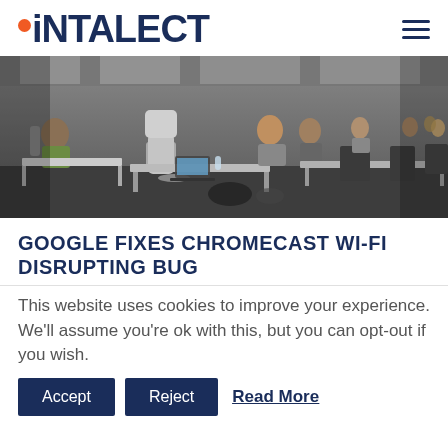iNTALECT
[Figure (photo): Open office space with many people working at desks with computers and laptops in a large hall]
GOOGLE FIXES CHROMECAST WI-FI DISRUPTING BUG
This website uses cookies to improve your experience. We'll assume you're ok with this, but you can opt-out if you wish.
Accept  Reject  Read More